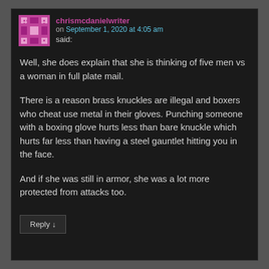chrismcdanielwriter on September 1, 2020 at 4:05 am said:
Well, she does explain that she is thinking of five men vs a woman in full plate mail.
There is a reason brass knuckles are illegal and boxers who cheat use metal in their gloves. Punching someone with a boxing glove hurts less than bare knuckle which hurts far less than having a steel gauntlet hitting you in the face.
And if she was still in armor, she was a lot more protected from attacks too.
Reply ↓